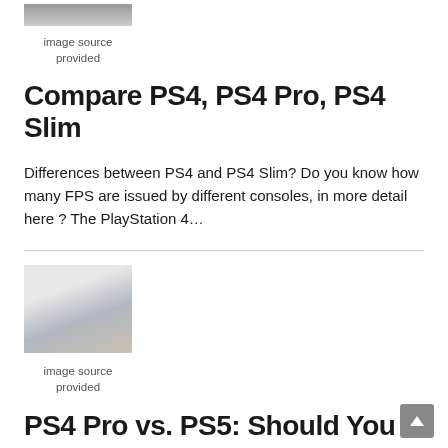[Figure (photo): Small grayscale image of PS4 gaming console]
image source
provided
Compare PS4, PS4 Pro, PS4 Slim
Differences between PS4 and PS4 Slim? Do you know how many FPS are issued by different consoles, in more detail here ? The PlayStation 4…
[Figure (photo): Image of PS4 consoles on a table]
image source
provided
PS4 Pro vs. PS5: Should You